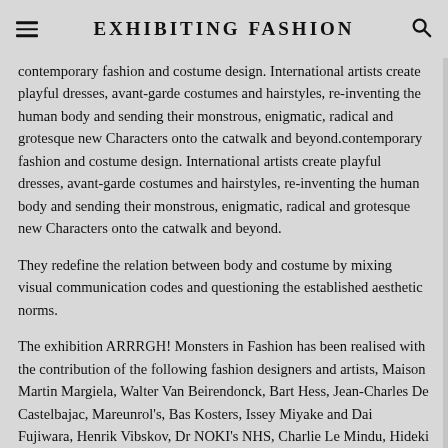EXHIBITING FASHION
contemporary fashion and costume design. International artists create playful dresses, avant-garde costumes and hairstyles, re-inventing the human body and sending their monstrous, enigmatic, radical and grotesque new Characters onto the catwalk and beyond.
They redefine the relation between body and costume by mixing visual communication codes and questioning the established aesthetic norms.
The exhibition ARRRGH! Monsters in Fashion has been realised with the contribution of the following fashion designers and artists, Maison Martin Margiela, Walter Van Beirendonck, Bart Hess, Jean-Charles De Castelbajac, Mareunrol's, Bas Kosters, Issey Miyake and Dai Fujiwara, Henrik Vibskov, Dr NOKI's NHS, Charlie Le Mindu, Hideki Seo, Alexis Themistocleous, Boris Hoppek, Craig Green, Bernhard Willhelm, Marcus Tomlinson, Bronwen Marshall, Rejina Pyo, Cassette Playa and Gary Card, Andrea Ayala Closa, George Tourlas, Digitaria, Niek Pulles aka HEYNIEK, Piers Atkinson and Pyuupiru amongst others.